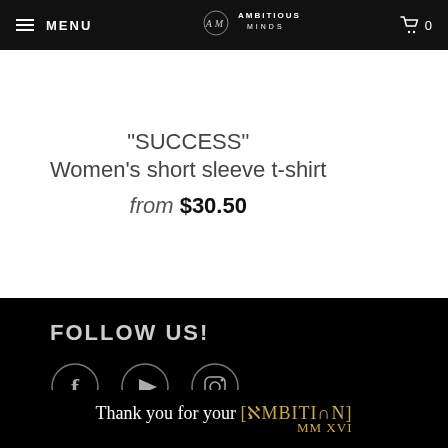MENU | AMBITIOUS MINDS | 0
"SUCCESS" Women's short sleeve t-shirt
from $30.50
FOLLOW US!
[Figure (illustration): Three social media icons in circles: Facebook (f), YouTube (play button), Instagram (camera), displayed on black background]
Thank you for your [AMBITION] MM XVI